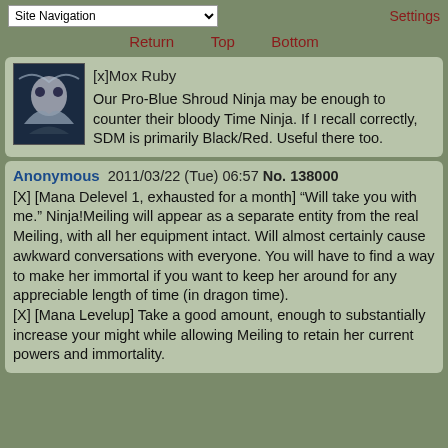Site Navigation | Settings
Return  Top  Bottom
[x]Mox Ruby

Our Pro-Blue Shroud Ninja may be enough to counter their bloody Time Ninja. If I recall correctly, SDM is primarily Black/Red. Useful there too.
Anonymous 2011/03/22 (Tue) 06:57 No. 138000

[X] [Mana Delevel 1, exhausted for a month] “Will take you with me.” Ninja!Meiling will appear as a separate entity from the real Meiling, with all her equipment intact. Will almost certainly cause awkward conversations with everyone. You will have to find a way to make her immortal if you want to keep her around for any appreciable length of time (in dragon time).
[X] [Mana Levelup] Take a good amount, enough to substantially increase your might while allowing Meiling to retain her current powers and immortality.